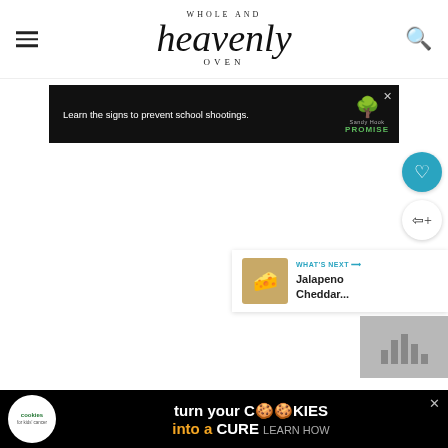Whole and Heavenly Oven
[Figure (screenshot): Sandy Hook Promise advertisement banner: 'Learn the signs to prevent school shootings.' with tree logo]
[Figure (infographic): Social share sidebar with heart (save) button and share button]
[Figure (infographic): What's Next panel showing Jalapeno Cheddar... article thumbnail]
[Figure (screenshot): Gray analytics/stats widget in bottom right]
So I've recently made a decision that anytime and every single time I have soup, I have to have a co... wi...
[Figure (screenshot): Cookies for Kids' Cancer advertisement: 'turn your COOKIES into a CURE LEARN HOW']